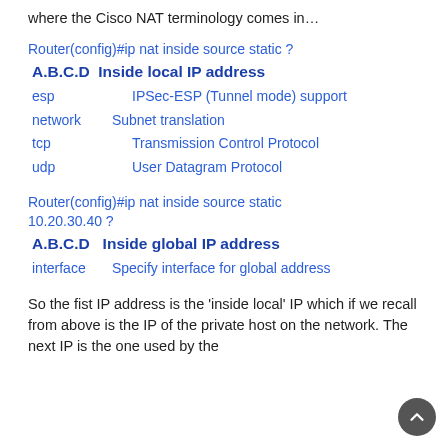where the Cisco NAT terminology comes in…
Router(config)#ip nat inside source static ?
A.B.C.D  Inside local IP address
esp      IPSec-ESP (Tunnel mode) support
network  Subnet translation
tcp      Transmission Control Protocol
udp      User Datagram Protocol
Router(config)#ip nat inside source static 10.20.30.40 ?
A.B.C.D    Inside global IP address
interface  Specify interface for global address
So the fist IP address is the 'inside local' IP which if we recall from above is the IP of the private host on the network. The next IP is the one used by the